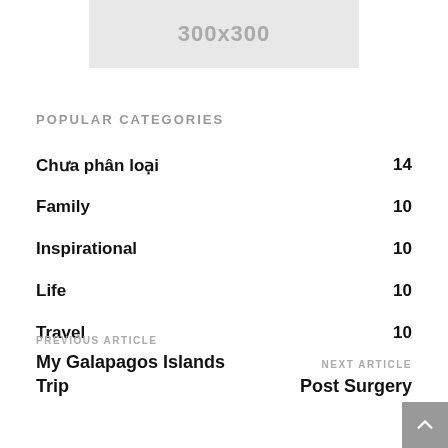[Figure (other): Placeholder image box showing '300x300' text on gray background]
POPULAR CATEGORIES
Chưa phân loại  14
Family  10
Inspirational  10
Life  10
Travel  10
PREVIOUS ARTICLE
My Galapagos Islands Trip
NEXT ARTICLE
Post Surgery